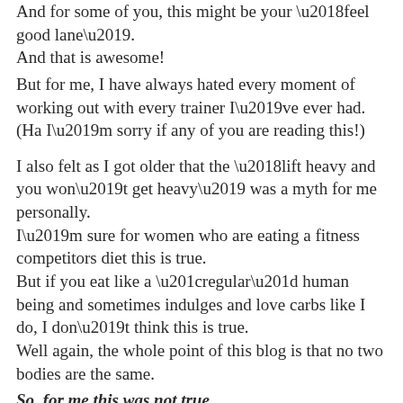And for some of you, this might be your ‘feel good lane’. And that is awesome!
But for me, I have always hated every moment of working out with every trainer I’ve ever had. (Ha I’m sorry if any of you are reading this!)
I also felt as I got older that the ‘lift heavy and you won’t get heavy’ was a myth for me personally. I’m sure for women who are eating a fitness competitors diet this is true. But if you eat like a “regular” human being and sometimes indulges and love carbs like I do, I don’t think this is true. Well again, the whole point of this blog is that no two bodies are the same.
So, for me this was not true.
I gained muscle of course, but I didn’t lose fat. I felt heavy and bulky, and you know what I didn’t feel? GOOD! Not